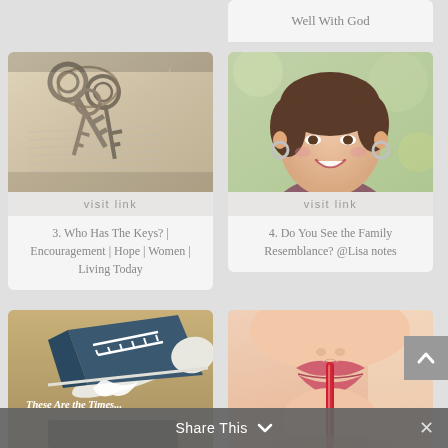Well With God
[Figure (photo): Old skeleton keys resting on open Bible pages]
visit link
3. Who Has The Keys? | Encouragement | Hope | Women | Living Today
[Figure (photo): Smiling woman with short hair and hoop earrings]
visit link
4. Do You See the Family Resemblance? @Lisa notes
[Figure (photo): Blue Converse sneaker on cardboard background with text These Are the Times...]
[Figure (photo): Close-up of woman's face blowing through a red straw]
Share This ∨
×